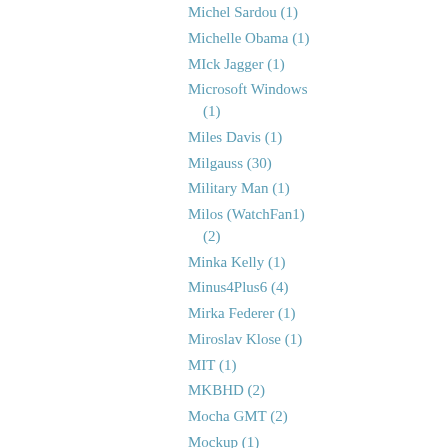Michel Sardou (1)
Michelle Obama (1)
MIck Jagger (1)
Microsoft Windows (1)
Miles Davis (1)
Milgauss (30)
Military Man (1)
Milos (WatchFan1) (2)
Minka Kelly (1)
Minus4Plus6 (4)
Mirka Federer (1)
Miroslav Klose (1)
MIT (1)
MKBHD (2)
Mocha GMT (2)
Mockup (1)
Model S Tesla (1)
Model X (1)